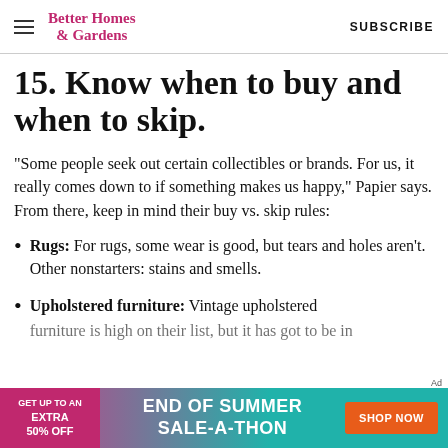Better Homes & Gardens   SUBSCRIBE
15. Know when to buy and when to skip.
"Some people seek out certain collectibles or brands. For us, it really comes down to if something makes us happy," Papier says. From there, keep in mind their buy vs. skip rules:
Rugs: For rugs, some wear is good, but tears and holes aren't. Other nonstarters: stains and smells.
Upholstered furniture: Vintage upholstered furniture is high on their list, but it has got to be in…
[Figure (other): Advertisement banner: GET UP TO AN EXTRA 50% OFF – END OF SUMMER SALE-A-THON – SHOP NOW button]